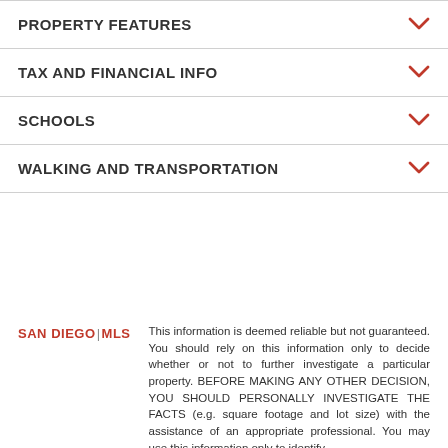PROPERTY FEATURES
TAX AND FINANCIAL INFO
SCHOOLS
WALKING AND TRANSPORTATION
[Figure (logo): SAN DIEGO | MLS logo in red]
This information is deemed reliable but not guaranteed. You should rely on this information only to decide whether or not to further investigate a particular property. BEFORE MAKING ANY OTHER DECISION, YOU SHOULD PERSONALLY INVESTIGATE THE FACTS (e.g. square footage and lot size) with the assistance of an appropriate professional. You may use this information only to identify properties you are interested in investigating further.